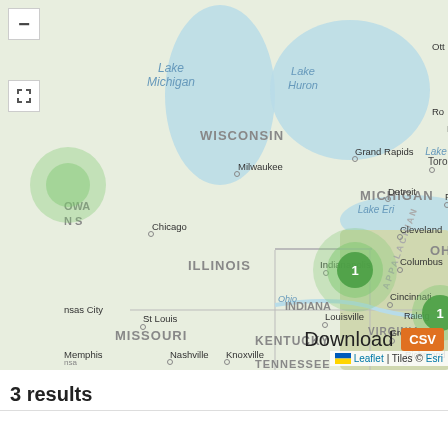[Figure (map): Interactive Leaflet/Esri map centered on the Midwestern/Eastern United States showing states including Wisconsin, Illinois, Indiana (with cluster marker '1'), Ohio, Michigan, Missouri, Kentucky, Tennessee, Virginia, and parts of Canada. Two green cluster markers labeled '1' are visible — one near Indianapolis, Indiana and one near the right edge near Virginia/West Virginia. A large green halo is visible at upper-left near Wisconsin. Map includes city labels: Milwaukee, Grand Rapids, Chicago, Detroit, Cleveland, Pittsburgh, Columbus, Indianapolis, Cincinnati, Louisville, St Louis, Nashville, Knoxville, Memphis, Greensboro, Richmond, Raleigh, Buffalo, Toronto. Water bodies labeled: Lake Michigan, Lake Huron, Lake Ontario, Lake Erie, Ohio (river). Map controls (minus button, fullscreen button) at top-left. Attribution: Leaflet | Tiles © Esri.]
Download CSV
3 results